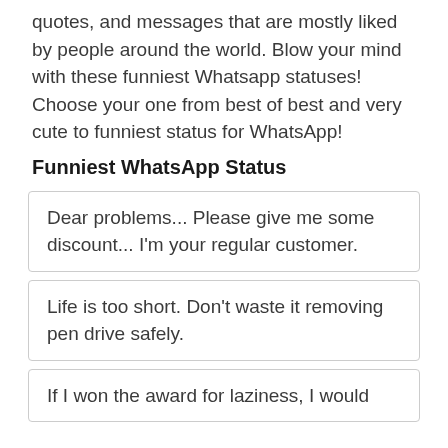quotes, and messages that are mostly liked by people around the world. Blow your mind with these funniest Whatsapp statuses! Choose your one from best of best and very cute to funniest status for WhatsApp!
Funniest WhatsApp Status
Dear problems... Please give me some discount... I'm your regular customer.
Life is too short. Don't waste it removing pen drive safely.
If I won the award for laziness, I would